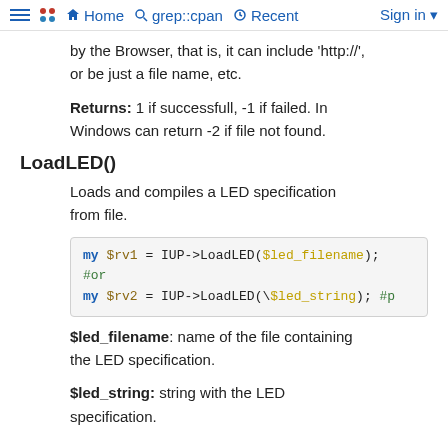Home  grep::cpan  Recent  Sign in
by the Browser, that is, it can include 'http://', or be just a file name, etc.
Returns: 1 if successfull, -1 if failed. In Windows can return -2 if file not found.
LoadLED()
Loads and compiles a LED specification from file.
[Figure (screenshot): Code block showing: my $rv1 = IUP->LoadLED($led_filename); #or my $rv2 = IUP->LoadLED(\$led_string); #p]
$led_filename: name of the file containing the LED specification.
$led_string: string with the LED specification.